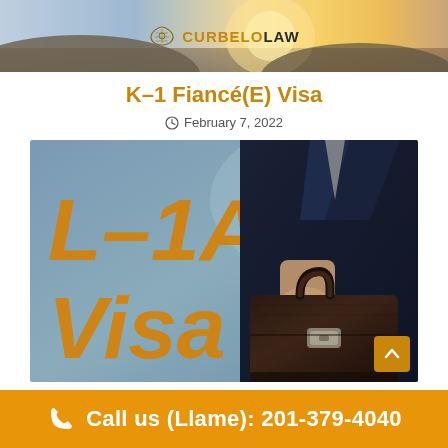CURBELO LAW
K–1 Fiancé(E) Visa
February 7, 2022
[Figure (photo): Man in dark suit holding a black leather briefcase, with large orange text 'L-1A Visa' overlaid on a blue-grey background]
Call us (Llame): 201-379-4040